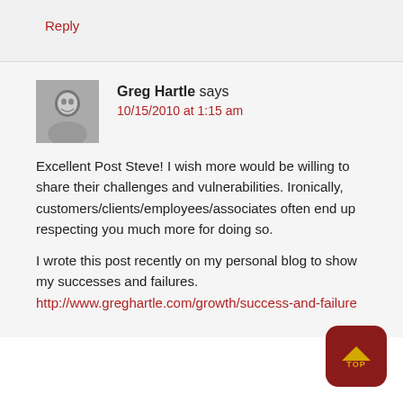Reply
Greg Hartle says
10/15/2010 at 1:15 am
Excellent Post Steve! I wish more would be willing to share their challenges and vulnerabilities. Ironically, customers/clients/employees/associates often end up respecting you much more for doing so.
I wrote this post recently on my personal blog to show my successes and failures. http://www.greghartle.com/growth/success-and-failure